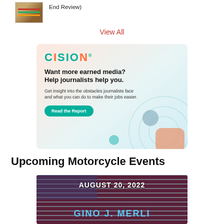[Figure (illustration): Thumbnail image of stacked books or notebooks with a red/green/yellow color scheme]
End Review)
View All
[Figure (illustration): Cision advertisement banner. Logo says CISION. Headline: Want more earned media? Help journalists help you. Body: Get insight into the obstacles journalists face and what you can do to make their jobs easier. Button: Read the Report. Decorative circles and shapes in teal/orange on gradient background.]
Upcoming Motorcycle Events
[Figure (photo): Event banner image with American flag background showing AUGUST 20, 2022 and GINO J. MERLI text in blue]